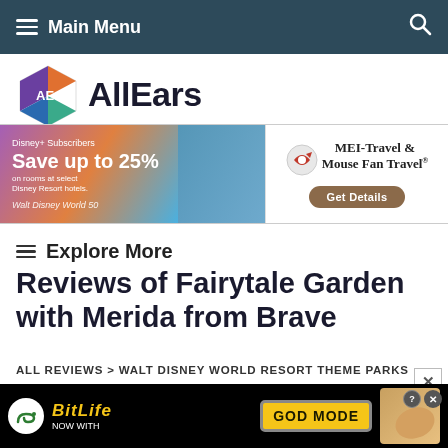Main Menu
[Figure (logo): AllEars website logo with colorful geometric AE hexagon icon]
[Figure (infographic): Advertisement banner: Disney+ Subscribers Save up to 25% on rooms at select Disney Resort hotels. Walt Disney World 50. MEI-Travel & Mouse Fan Travel. Get Details.]
Explore More
Reviews of Fairytale Garden with Merida from Brave
ALL REVIEWS > WALT DISNEY WORLD RESORT THEME PARKS REVIEWS > WALT DISNEY WORLD RIDES AND ATTRACTIONS
[Figure (infographic): BitLife advertisement: NOW WITH GOD MODE]